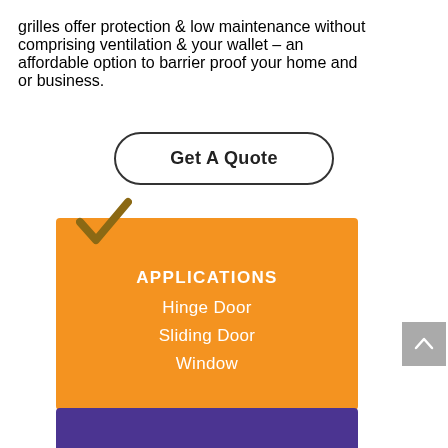grilles offer protection & low maintenance without comprising ventilation & your wallet – an affordable option to barrier proof your home and or business.
[Figure (other): Get A Quote button with rounded pill border]
[Figure (infographic): Orange card with brown checkmark icon and APPLICATIONS list: Hinge Door, Sliding Door, Window]
[Figure (other): Gray scroll-to-top button with upward chevron]
[Figure (other): Purple card at the bottom edge]